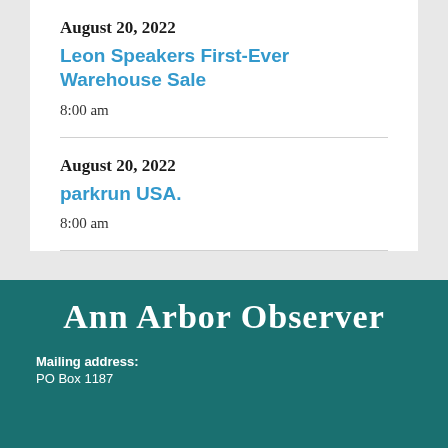August 20, 2022
Leon Speakers First-Ever Warehouse Sale
8:00 am
August 20, 2022
parkrun USA.
8:00 am
Ann Arbor Observer
Mailing address:
PO Box 1187